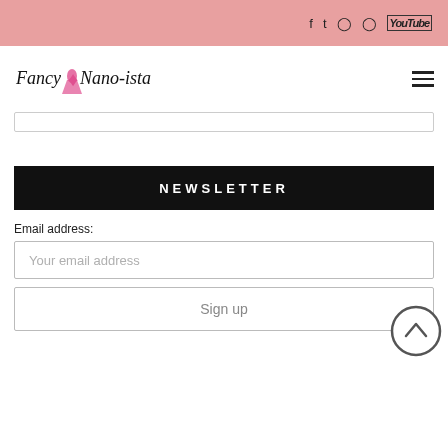Social media icons: Facebook, Twitter, Instagram, Pinterest, YouTube
[Figure (logo): Fancy Nano-ista logo with cursive text and pink dress illustration]
Search bar
NEWSLETTER
Email address:
Your email address
Sign up